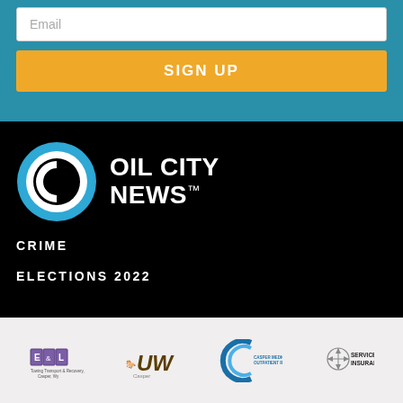Email
SIGN UP
[Figure (logo): Oil City News logo — blue circle with white C inside, next to bold white text 'OIL CITY NEWS' with trademark symbol]
CRIME
ELECTIONS 2022
[Figure (logo): Sponsor logos: E&L Towing Transport & Recovery Inc Casper WY, UW Casper, Casper Medical Imaging & Outpatient Radiology, Service First Insurance]